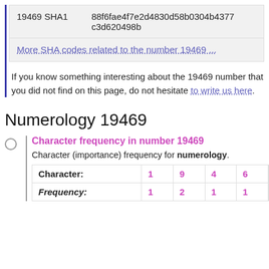|  |  |
| --- | --- |
| 19469 SHA1 | 88f6fae4f7e2d4830d58b0304b4377c3d620498b |
More SHA codes related to the number 19469 ...
If you know something interesting about the 19469 number that you did not find on this page, do not hesitate to write us here.
Numerology 19469
Character frequency in number 19469
Character (importance) frequency for numerology.
| Character: | 1 | 9 | 4 | 6 |
| --- | --- | --- | --- | --- |
| Frequency: | 1 | 2 | 1 | 1 |